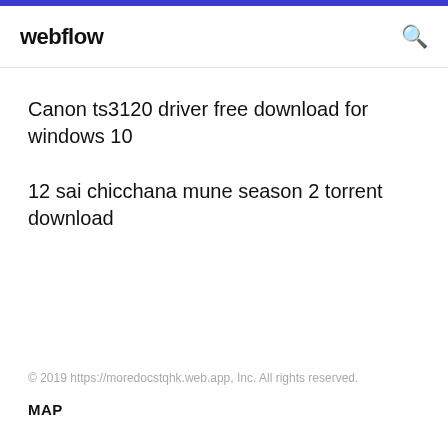webflow
Canon ts3120 driver free download for windows 10
12 sai chicchana mune season 2 torrent download
© 2019 https://moredocstqhk.web.app, Inc. All rights reserved.
MAP